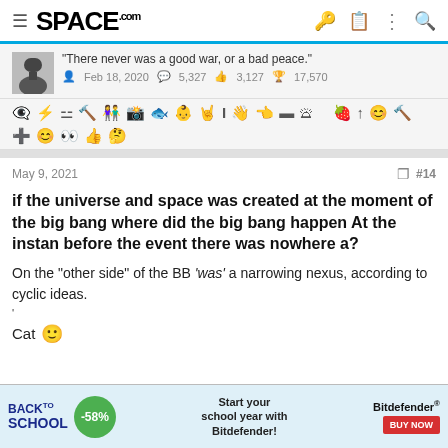SPACE.com
"There never was a good war, or a bad peace." Feb 18, 2020  5,327  3,127  17,570
[Figure (infographic): Row of emoji/icon symbols for user reactions/badges]
May 9, 2021   #14
if the universe and space was created at the moment of the big bang where did the big bang happen At the instan before the event there was nowhere a?
On the "other side" of the BB 'was' a narrowing nexus, according to cyclic ideas.
Cat 🙂
[Figure (infographic): Bitdefender Back to School advertisement banner with -58% discount]